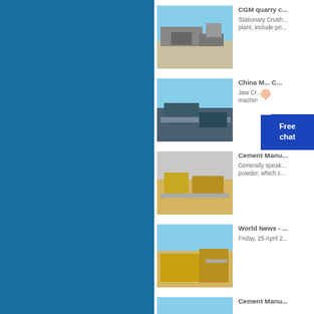[Figure (photo): Blue panel on the left side of the page]
CGM quarry c... — Stationary Crush... plant, include pri...
China M... C... — Jaw Cr... c... machin... c...
Cement Manu... — Generally speak... powder, which c...
World News - ... — Friday, 25 April 2...
Cement Manu...